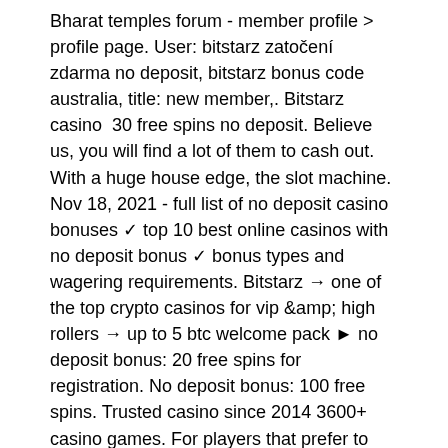Bharat temples forum - member profile &gt; profile page. User: bitstarz zatočení zdarma no deposit, bitstarz bonus code australia, title: new member,. Bitstarz casino  30 free spins no deposit. Believe us, you will find a lot of them to cash out. With a huge house edge, the slot machine. Nov 18, 2021 - full list of no deposit casino bonuses ✓ top 10 best online casinos with no deposit bonus ✓ bonus types and wagering requirements. Bitstarz → one of the top crypto casinos for vip &amp; high rollers → up to 5 btc welcome pack ► no deposit bonus: 20 free spins for registration. No deposit bonus: 100 free spins. Trusted casino since 2014 3600+ casino games. For players that prefer to play in real-time, bitstarz offers a live casino. Maximum cashout for no deposit. Up to 200 free spins (friday loyalty bonus) at bitstarz casino. Bitstarz casino bonus codes | best bitstarz casino bonuses,. Bitstarz para